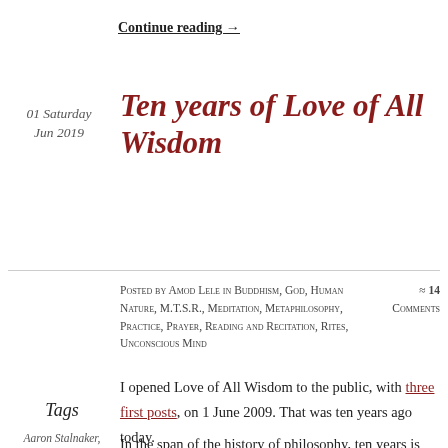Continue reading →
01 Saturday Jun 2019
Ten years of Love of All Wisdom
Posted by Amod Lele in Buddhism, God, Human Nature, M.T.S.R., Meditation, Metaphilosophy, Practice, Prayer, Reading and Recitation, Rites, Unconscious Mind
≈ 14 Comments
I opened Love of All Wisdom to the public, with three first posts, on 1 June 2009. That was ten years ago today.
Tags
Aaron Stalnaker, Alasdair MacIntyre, architecture,
In the span of the history of philosophy, ten years is the blink of an eye. In the span of the blogosphere, however, ten years is an eternity. A lot happens in that